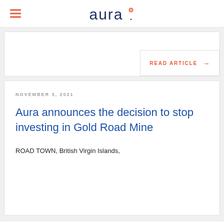aura
READ ARTICLE →
NOVEMBER 3, 2021
Aura announces the decision to stop investing in Gold Road Mine
ROAD TOWN, British Virgin Islands,